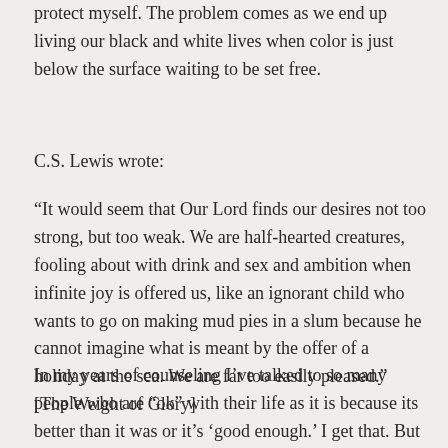protect myself. The problem comes as we end up living our black and white lives when color is just below the surface waiting to be set free.
C.S. Lewis wrote:
“It would seem that Our Lord finds our desires not too strong, but too weak. We are half-hearted creatures, fooling about with drink and sex and ambition when infinite joy is offered us, like an ignorant child who wants to go on making mud pies in a slum because he cannot imagine what is meant by the offer of a holiday at the sea. We are far too easily pleased.” [The Weight of Glory]
In my years of counseling I’ve talked to so many people who are “ok” with their life as it is because its better than it was or it’s ‘good enough.’ I get that. But just as the first blush of romantic